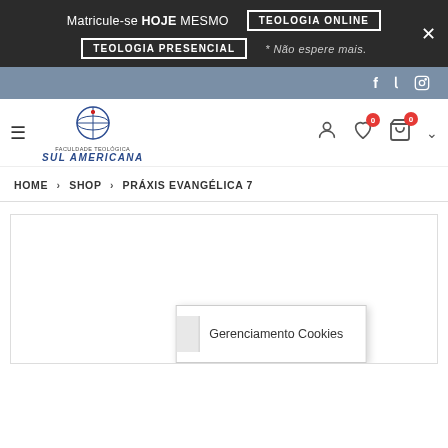[Figure (screenshot): Website top banner with dark background. Text: 'Matricule-se HOJE MESMO', buttons 'TEOLOGIA ONLINE' and 'TEOLOGIA PRESENCIAL', italic text '* Não espere mais.', close X button.]
[Figure (screenshot): Social media bar with steel-blue background containing Facebook, Twitter, and Instagram icons on the right.]
[Figure (screenshot): Navigation bar with hamburger menu, Faculdade Teológica Sul Americana logo (globe icon), and right-side icons: user account, wishlist with 0 badge, shopping bag with 0 badge, and a chevron.]
HOME > SHOP > PRÁXIS EVANGÉLICA 7
[Figure (screenshot): Product image area (white box with border). A cookie management dialog 'Gerenciamento Cookies' is partially visible at the bottom.]